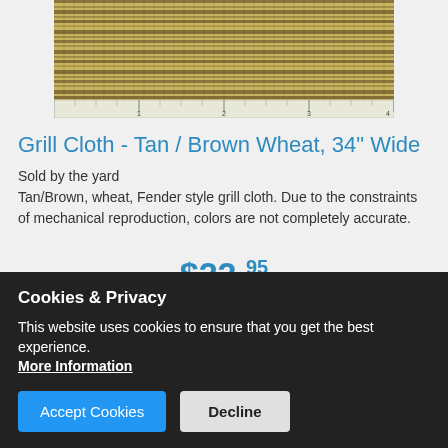[Figure (photo): Close-up photo of tan/brown wheat woven grill cloth fabric with a ruler at the bottom showing approximately 4 inches width]
Grill Cloth - Tan / Brown Wheat, 34" Wide
Sold by the yard
Tan/Brown, wheat, Fender style grill cloth. Due to the constraints of mechanical reproduction, colors are not completely accurate.
$22.95
Cookies & Privacy
This website uses cookies to ensure that you get the best experience. More Information
Accept Cookies
Decline